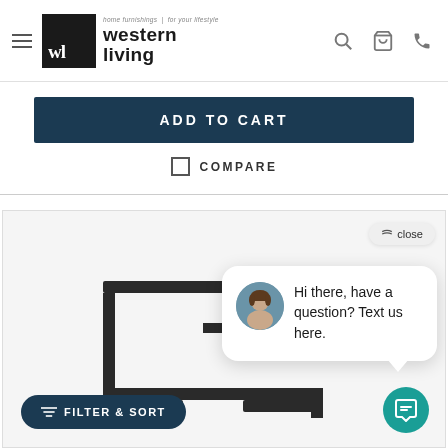home furniture | for your lifestyle western living
ADD TO CART
COMPARE
[Figure (screenshot): Furniture product image showing a black metal side/end table with a c-shaped base, partially obscured by a chat popup window]
close
Hi there, have a question? Text us here.
FILTER & SORT